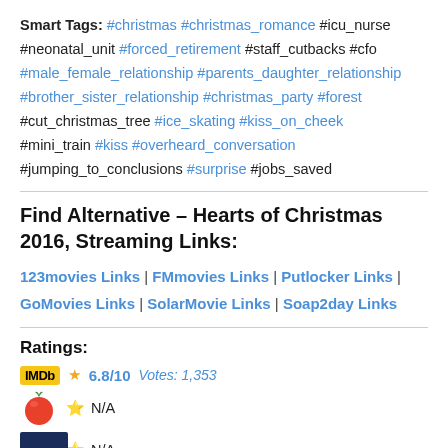Smart Tags: #christmas #christmas_romance #icu_nurse #neonatal_unit #forced_retirement #staff_cutbacks #cfo #male_female_relationship #parents_daughter_relationship #brother_sister_relationship #christmas_party #forest #cut_christmas_tree #ice_skating #kiss_on_cheek #mini_train #kiss #overheard_conversation #jumping_to_conclusions #surprise #jobs_saved
Find Alternative – Hearts of Christmas 2016, Streaming Links:
123movies Links | FMmovies Links | Putlocker Links | GoMovies Links | SolarMovie Links | Soap2day Links
Ratings:
IMDb 6.8/10 Votes: 1,353
N/A
N/A